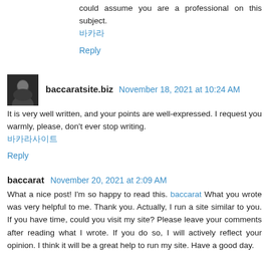could assume you are a professional on this subject. 바카라
Reply
baccaratsite.biz  November 18, 2021 at 10:24 AM
It is very well written, and your points are well-expressed. I request you warmly, please, don't ever stop writing. 바카라사이트
Reply
baccarat  November 20, 2021 at 2:09 AM
What a nice post! I'm so happy to read this. baccarat What you wrote was very helpful to me. Thank you. Actually, I run a site similar to you. If you have time, could you visit my site? Please leave your comments after reading what I wrote. If you do so, I will actively reflect your opinion. I think it will be a great help to run my site. Have a good day.